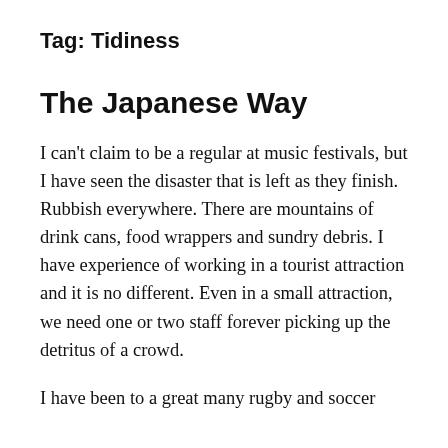Tag: Tidiness
The Japanese Way
I can't claim to be a regular at music festivals, but I have seen the disaster that is left as they finish. Rubbish everywhere. There are mountains of drink cans, food wrappers and sundry debris. I have experience of working in a tourist attraction and it is no different. Even in a small attraction, we need one or two staff forever picking up the detritus of a crowd.
I have been to a great many rugby and soccer